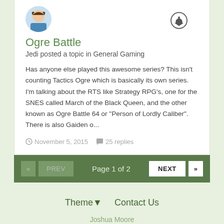[Figure (photo): Avatar of user Jedi, cartoon female character with blue outfit]
Ogre Battle
Jedi posted a topic in General Gaming
Has anyone else played this awesome series? This isn't counting Tactics Ogre which is basically its own series. I'm talking about the RTS like Strategy RPG's, one for the SNES called March of the Black Queen, and the other known as Ogre Battle 64 or "Person of Lordly Caliber". There is also Gaiden o...
November 5, 2015   25 replies
Page 1 of 2
Theme  Contact Us
Joshua Moore
Powered by Invision Community